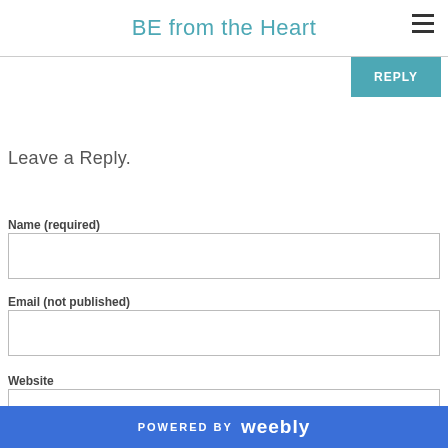BE from the Heart
[Figure (other): Teal reply button partially visible at top right]
Leave a Reply.
Name (required)
Email (not published)
Website
POWERED BY weebly